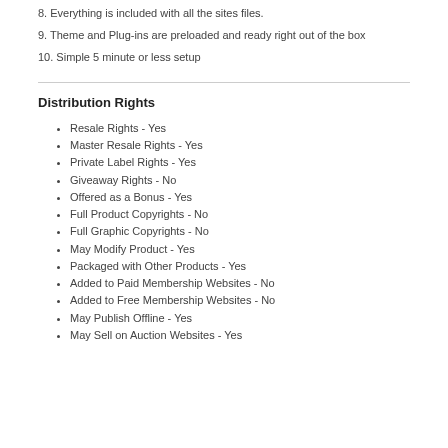8. Everything is included with all the sites files.
9. Theme and Plug-ins are preloaded and ready right out of the box
10. Simple 5 minute or less setup
Distribution Rights
Resale Rights - Yes
Master Resale Rights - Yes
Private Label Rights - Yes
Giveaway Rights - No
Offered as a Bonus - Yes
Full Product Copyrights - No
Full Graphic Copyrights - No
May Modify Product - Yes
Packaged with Other Products - Yes
Added to Paid Membership Websites - No
Added to Free Membership Websites - No
May Publish Offline - Yes
May Sell on Auction Websites - Yes